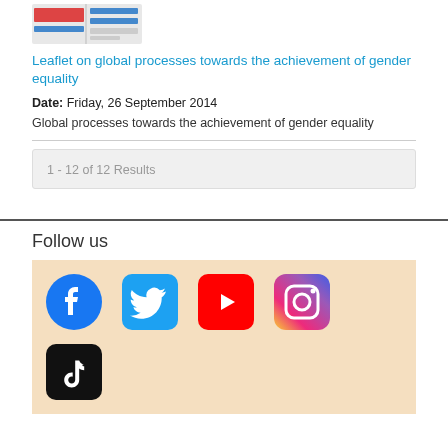[Figure (screenshot): Small thumbnail image of a leaflet/infographic about global processes towards gender equality]
Leaflet on global processes towards the achievement of gender equality
Date: Friday, 26 September 2014
Global processes towards the achievement of gender equality
1 - 12 of 12 Results
Follow us
[Figure (infographic): Social media icons: Facebook, Twitter, YouTube, Instagram, TikTok on a beige background]